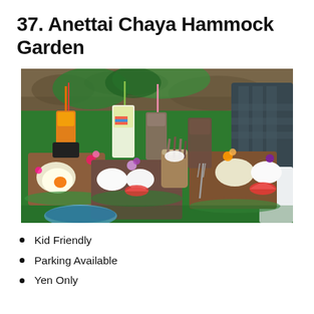37. Anettai Chaya Hammock Garden
[Figure (photo): Colorful food and drinks spread on a green table at Anettai Chaya Hammock Garden. Multiple brown platters with rice, fried eggs, vegetables and flowers are visible, along with glasses of orange juice, iced latte, green tea, and chocolate smoothie. Bamboo straws in a cup. People seated around the table.]
Kid Friendly
Parking Available
Yen Only